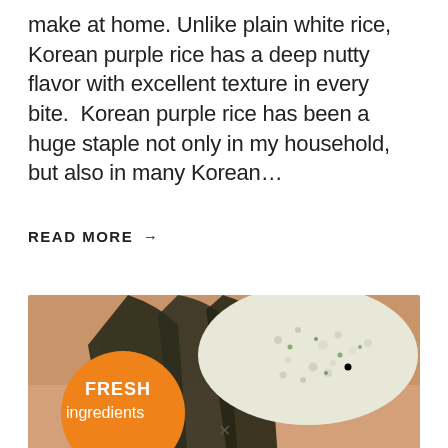make at home. Unlike plain white rice, Korean purple rice has a deep nutty flavor with excellent texture in every bite.  Korean purple rice has been a huge staple not only in my household, but also in many Korean…
READ MORE →
[Figure (photo): A hand holding a Korean onigiri (rice ball) wrapped in nori seaweed, with an orange circle badge in the lower left showing the text 'FRESH ingredients' in white.]